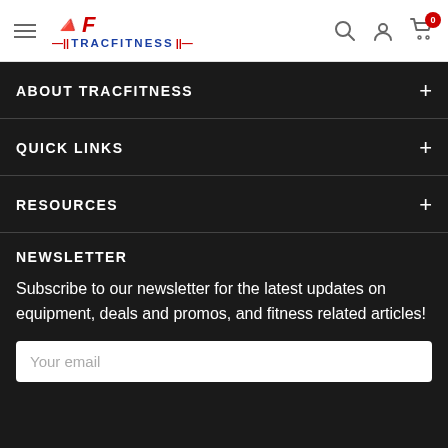TracFitness navigation bar with hamburger menu, logo, search, account, and cart icons
ABOUT TRACFITNESS
QUICK LINKS
RESOURCES
NEWSLETTER
Subscribe to our newsletter for the latest updates on equipment, deals and promos, and fitness related articles!
Your email